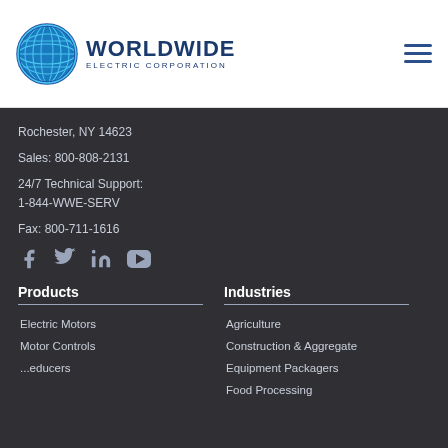[Figure (logo): Worldwide Electric Corporation logo with globe icon]
Rochester, NY 14623
Sales: 800-808-2131
24/7 Technical Support:
1-844-WWE-SERV
Fax: 800-711-1616
[Figure (infographic): Social media icons: Facebook, Twitter, LinkedIn, YouTube]
Products
Electric Motors
Motor Controls
...educers
Industries
Agriculture
Construction & Aggregate
Equipment Packagers
Food Processing